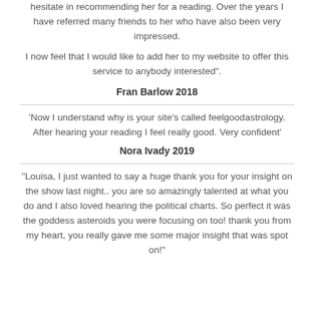hesitate in recommending her for a reading. Over the years I have referred many friends to her who have also been very impressed.
I now feel that I would like to add her to my website to offer this service to anybody interested".
Fran Barlow 2018
'Now I understand why is your site's called feelgoodastrology. After hearing your reading I feel really good. Very confident'
Nora Ivady 2019
"Louisa, I just wanted to say a huge thank you for your insight on the show last night.. you are so amazingly talented at what you do and I also loved hearing the political charts. So perfect it was the goddess asteroids you were focusing on too! thank you from my heart, you really gave me some major insight that was spot on!"